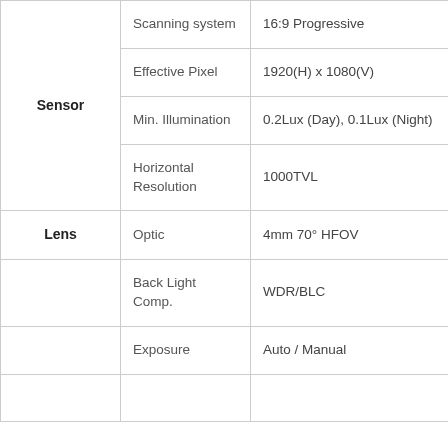| Category | Property | Value |
| --- | --- | --- |
| Sensor | Scanning system | 16:9 Progressive |
|  | Effective Pixel | 1920(H) x 1080(V) |
|  | Min. Illumination | 0.2Lux (Day), 0.1Lux (Night) |
|  | Horizontal Resolution | 1000TVL |
| Lens | Optic | 4mm 70° HFOV |
|  | Back Light Comp. | WDR/BLC |
|  | Exposure | Auto / Manual |